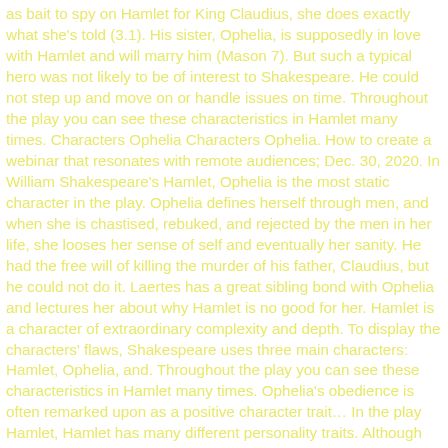as bait to spy on Hamlet for King Claudius, she does exactly what she's told (3.1). His sister, Ophelia, is supposedly in love with Hamlet and will marry him (Mason 7). But such a typical hero was not likely to be of interest to Shakespeare. He could not step up and move on or handle issues on time. Throughout the play you can see these characteristics in Hamlet many times. Characters Ophelia Characters Ophelia. How to create a webinar that resonates with remote audiences; Dec. 30, 2020. In William Shakespeare's Hamlet, Ophelia is the most static character in the play. Ophelia defines herself through men, and when she is chastised, rebuked, and rejected by the men in her life, she looses her sense of self and eventually her sanity. He had the free will of killing the murder of his father, Claudius, but he could not do it. Laertes has a great sibling bond with Ophelia and lectures her about why Hamlet is no good for her. Hamlet is a character of extraordinary complexity and depth. To display the characters' flaws, Shakespeare uses three main characters: Hamlet, Ophelia, and. Throughout the play you can see these characteristics in Hamlet many times. Ophelia's obedience is often remarked upon as a positive character trait... In the play Hamlet, Hamlet has many different personality traits. Although Ophelia (in Hamlet) is one of the least fully-realised female characters in Shakespeare she is probably the most interesting and relevant regarding current gender relations. At a time when Western women struggle to establish their position in this part of the 21st century, Ophelia speaks quite directly to our generation of th